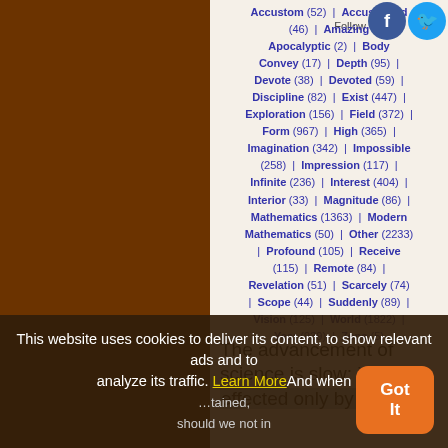Accustom (52) | Accustomed (46) | Amazing | Apocalyptic (2) | Body | Convey (17) | Depth (95) | Devote (38) | Devoted (59) | Discipline (82) | Exist (447) | Exploration (156) | Field (372) | Form (967) | High (365) | Imagination (342) | Impossible (258) | Impression (117) | Infinite (236) | Interest (404) | Interior (33) | Magnitude (86) | Mathematics (1363) | Modern Mathematics (50) | Other (2233) | Profound (105) | Receive (115) | Remote (84) | Revelation (51) | Scarcely (74) | Scope (44) | Suddenly (89) | Vision (125) | World (1822) | Year (939) | Zone (5)
The advancement of science is slow; it is effected only by virtue of... And when... obtained, should we not in
This website uses cookies to deliver its content, to show relevant ads and to analyze its traffic. Learn More